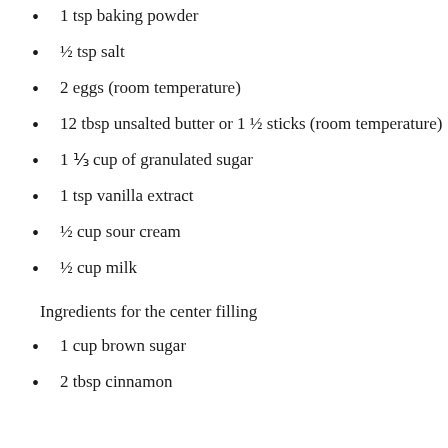1 tsp baking powder
½ tsp salt
2 eggs (room temperature)
12 tbsp unsalted butter or 1 ½ sticks (room temperature)
1 ⅓ cup of granulated sugar
1 tsp vanilla extract
½ cup sour cream
½ cup milk
Ingredients for the center filling
1 cup brown sugar
2 tbsp cinnamon